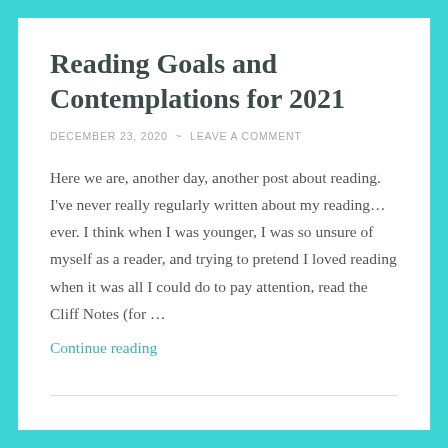Reading Goals and Contemplations for 2021
DECEMBER 23, 2020  ~  LEAVE A COMMENT
Here we are, another day, another post about reading. I've never really regularly written about my reading… ever. I think when I was younger, I was so unsure of myself as a reader, and trying to pretend I loved reading when it was all I could do to pay attention, read the Cliff Notes (for …
Continue reading
Meta post